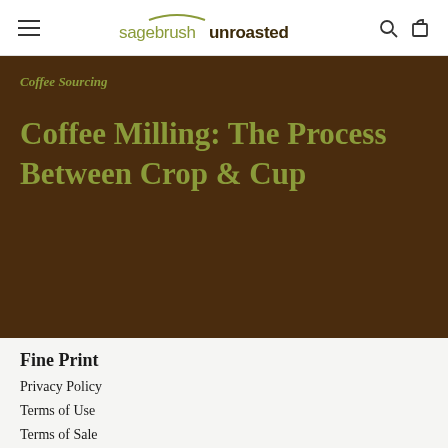sagebrushunroasted
Coffee Sourcing
Coffee Milling: The Process Between Crop & Cup
Fine Print
Privacy Policy
Terms of Use
Terms of Sale
Return Policy